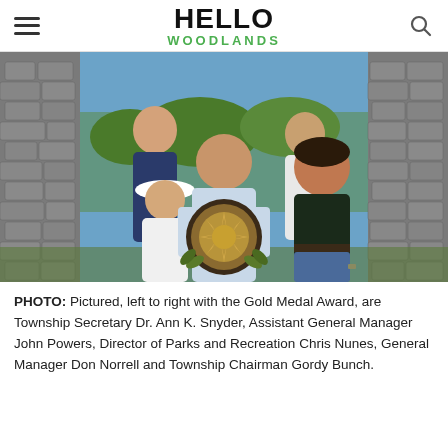HELLO WOODLANDS
[Figure (photo): Group of five people posing outdoors in front of a stone wall structure. One person in the center is holding a circular Gold Medal Award plaque. Left to right: Township Secretary Dr. Ann K. Snyder (woman in white hat and top), a man in navy blue in the background, Assistant General Manager John Powers (center holding award), Director of Parks and Recreation Chris Nunes (background right), and Township Chairman Gordy Bunch (right in black polo shirt and jeans).]
PHOTO: Pictured, left to right with the Gold Medal Award, are Township Secretary Dr. Ann K. Snyder, Assistant General Manager John Powers, Director of Parks and Recreation Chris Nunes, General Manager Don Norrell and Township Chairman Gordy Bunch.